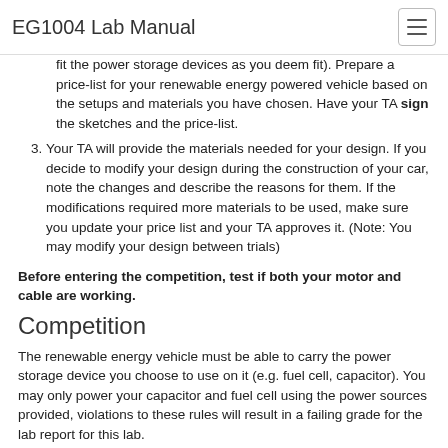EG1004 Lab Manual
fit the power storage devices as you deem fit). Prepare a price-list for your renewable energy powered vehicle based on the setups and materials you have chosen. Have your TA sign the sketches and the price-list.
Your TA will provide the materials needed for your design. If you decide to modify your design during the construction of your car, note the changes and describe the reasons for them. If the modifications required more materials to be used, make sure you update your price list and your TA approves it. (Note: You may modify your design between trials)
Before entering the competition, test if both your motor and cable are working.
Competition
The renewable energy vehicle must be able to carry the power storage device you choose to use on it (e.g. fuel cell, capacitor). You may only power your capacitor and fuel cell using the power sources provided, violations to these rules will result in a failing grade for the lab report for this lab.